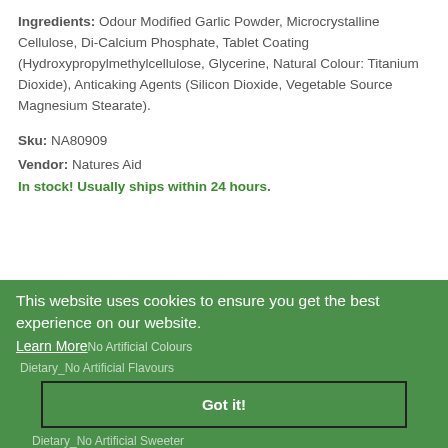Ingredients: Odour Modified Garlic Powder, Microcrystalline Cellulose, Di-Calcium Phosphate, Tablet Coating (Hydroxypropylmethylcellulose, Glycerine, Natural Colour: Titanium Dioxide), Anticaking Agents (Silicon Dioxide, Vegetable Source Magnesium Stearate).
Sku: NA80909
Vendor: Natures Aid
In stock! Usually ships within 24 hours.
Tags: Age_Adult  All Health
This website uses cookies to ensure you get the best experience on our website.
Learn More
No Artificial Colours
Dietary_No Artificial Flavours
Got it!
Dietary_No Artificial Sweeter
Dietary_Aluminium Free    Dietary_Celery Free